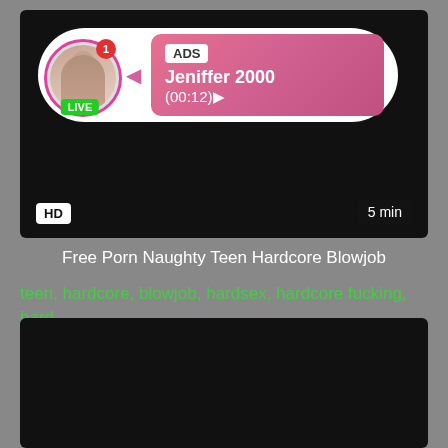[Figure (screenshot): Video player with ad overlay showing user 'Jeniffer 2000' live, with HD badge and 5 min duration]
Free Porn Naughty Teen Hardcore Blowjob
teen, hardcore, blowjob, hardsex, hardcore fucking, hard...
[Figure (screenshot): Second dark video player block]